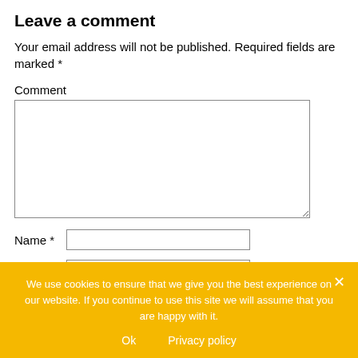Leave a comment
Your email address will not be published. Required fields are marked *
Comment
Name *
Email *
We use cookies to ensure that we give you the best experience on our website. If you continue to use this site we will assume that you are happy with it.
Ok   Privacy policy